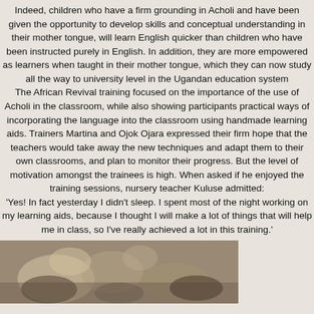Indeed, children who have a firm grounding in Acholi and have been given the opportunity to develop skills and conceptual understanding in their mother tongue, will learn English quicker than children who have been instructed purely in English. In addition, they are more empowered as learners when taught in their mother tongue, which they can now study all the way to university level in the Ugandan education system
The African Revival training focused on the importance of the use of Acholi in the classroom, while also showing participants practical ways of incorporating the language into the classroom using handmade learning aids. Trainers Martina and Ojok Ojara expressed their firm hope that the teachers would take away the new techniques and adapt them to their own classrooms, and plan to monitor their progress. But the level of motivation amongst the trainees is high. When asked if he enjoyed the training sessions, nursery teacher Kuluse admitted:
'Yes! In fact yesterday I didn't sleep. I spent most of the night working on my learning aids, because I thought I will make a lot of things that will help me in class, so I've really achieved a lot in this training.'
[Figure (photo): A photograph showing people engaged in a classroom or training activity, partially visible at the bottom of the page.]